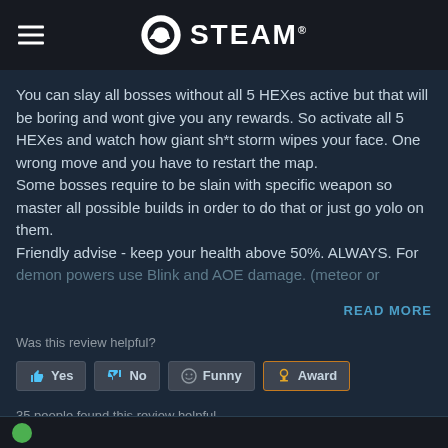STEAM
You can slay all bosses without all 5 HEXes active but that will be boring and wont give you any rewards. So activate all 5 HEXes and watch how giant sh*t storm wipes your face. One wrong move and you have to restart the map.
Some bosses require to be slain with specific weapon so master all possible builds in order to do that or just go yolo on them.
Friendly advise - keep your health above 50%. ALWAYS. For demon powers use Blink and AOE damage. (meteor or
READ MORE
Was this review helpful?
Yes | No | Funny | Award
35 people found this review helpful
9 people found this review funny